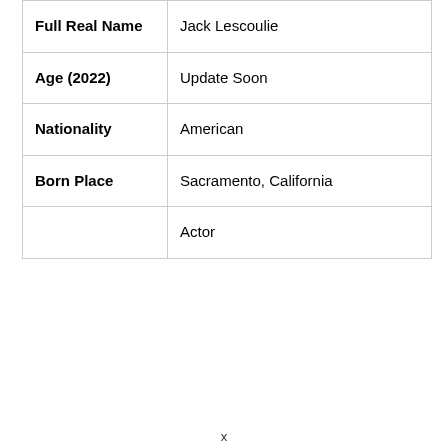| Full Real Name | Jack Lescoulie |
| Age (2022) | Update Soon |
| Nationality | American |
| Born Place | Sacramento, California |
|  | Actor |
x